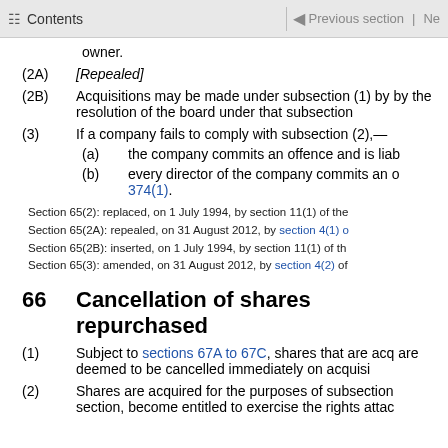Contents | Previous section | Ne
owner.
(2A) [Repealed]
(2B) Acquisitions may be made under subsection (1) by the resolution of the board under that subsection
(3) If a company fails to comply with subsection (2),—
(a) the company commits an offence and is liab
(b) every director of the company commits an o 374(1).
Section 65(2): replaced, on 1 July 1994, by section 11(1) of the
Section 65(2A): repealed, on 31 August 2012, by section 4(1) o
Section 65(2B): inserted, on 1 July 1994, by section 11(1) of th
Section 65(3): amended, on 31 August 2012, by section 4(2) of
66 Cancellation of shares repurchased
(1) Subject to sections 67A to 67C, shares that are acq are deemed to be cancelled immediately on acquisi
(2) Shares are acquired for the purposes of subsection section, become entitled to exercise the rights attac